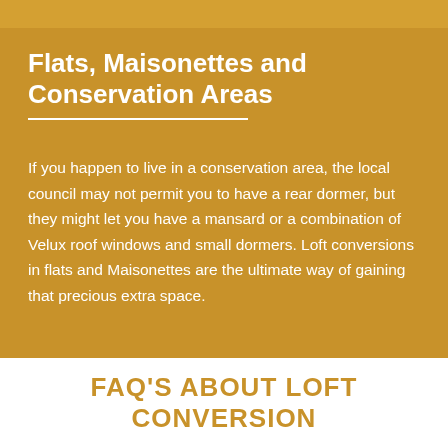Flats, Maisonettes and Conservation Areas
If you happen to live in a conservation area, the local council may not permit you to have a rear dormer, but they might let you have a mansard or a combination of Velux roof windows and small dormers. Loft conversions in flats and Maisonettes are the ultimate way of gaining that precious extra space.
FAQ'S ABOUT LOFT CONVERSION